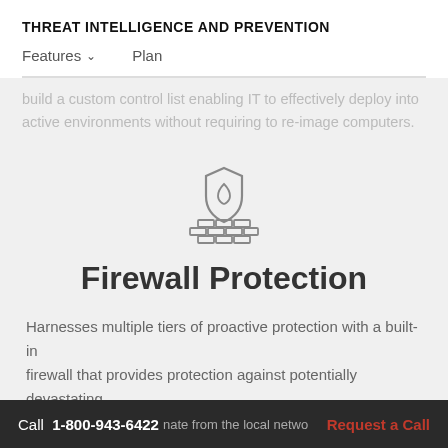THREAT INTELLIGENCE AND PREVENTION
Features ∨    Plan
build a custom control list enabling IT to effectively deploy into active environments without requiring to re-image computers.
[Figure (illustration): Firewall icon: a shield with a flame on top of a brick wall, drawn in outline style on a light gray background]
Firewall Protection
Harnesses multiple tiers of proactive protection with a built-in firewall that provides protection against potentially devastating threats that originate from the local network.
Call  1-800-943-6422    Request a Call